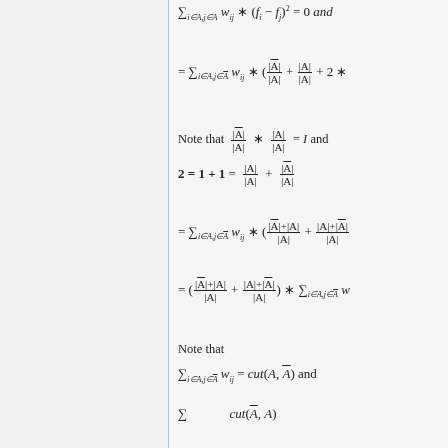Note that |Ā|/|A| * |A|/|Ā| = I and
Note that